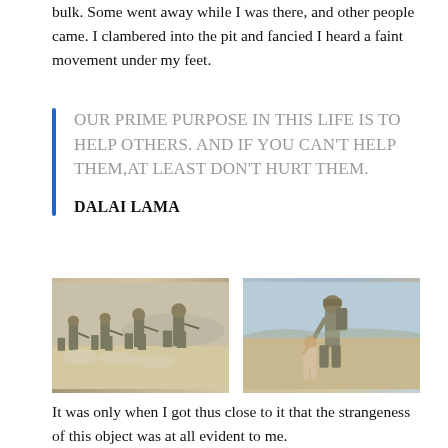bulk. Some went away while I was there, and other people came. I clambered into the pit and fancied I heard a faint movement under my feet.
OUR PRIME PURPOSE IN THIS LIFE IS TO HELP OTHERS. AND IF YOU CAN'T HELP THEM,AT LEAST DON'T HURT THEM.

DALAI LAMA
[Figure (photo): Soldiers in desert camouflage running across sandy terrain with weapons]
[Figure (photo): A soldier in desert camouflage crouching down to interact with a small child in an arid landscape]
It was only when I got thus close to it that the strangeness of this object was at all evident to me.